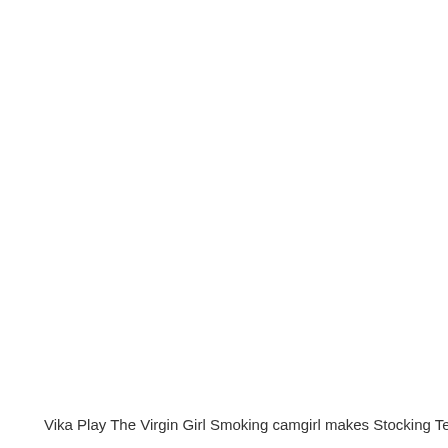[Figure (photo): Large mostly blank/white image area occupying the upper portion of the page]
Vika Play The Virgin Girl Smoking camgirl makes Stocking Tease Film Yellow fever Ah Penelope!